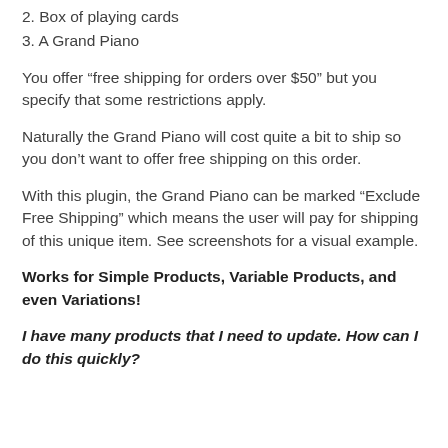2. Box of playing cards
3. A Grand Piano
You offer “free shipping for orders over $50” but you specify that some restrictions apply.
Naturally the Grand Piano will cost quite a bit to ship so you don’t want to offer free shipping on this order.
With this plugin, the Grand Piano can be marked “Exclude Free Shipping” which means the user will pay for shipping of this unique item. See screenshots for a visual example.
Works for Simple Products, Variable Products, and even Variations!
I have many products that I need to update. How can I do this quickly?